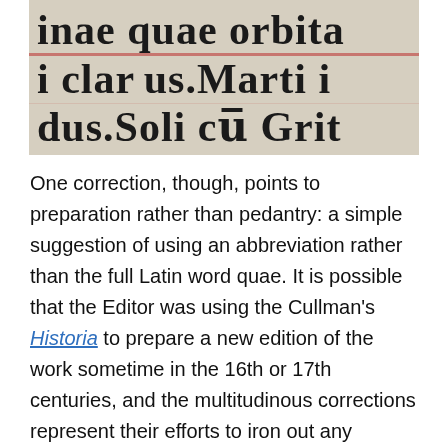[Figure (photo): Close-up photograph of a manuscript page with large Gothic/blackletter Latin text, partially showing words including 'quae orbita', 'clarus. Marti i', 'dus. Soli cu̅ Grit'. A red horizontal rule is visible between the second and third lines.]
One correction, though, points to preparation rather than pedantry: a simple suggestion of using an abbreviation rather than the full Latin word quae. It is possible that the Editor was using the Cullman's Historia to prepare a new edition of the work sometime in the 16th or 17th centuries, and the multitudinous corrections represent their efforts to iron out any mistakes made in this 1491 edition. The suggestion of an abbreviation amongst numerous spelling corrections points to a